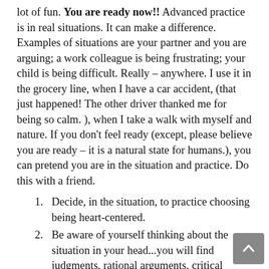lot of fun. You are ready now!! Advanced practice is in real situations. It can make a difference. Examples of situations are your partner and you are arguing; a work colleague is being frustrating; your child is being difficult. Really – anywhere. I use it in the grocery line, when I have a car accident, (that just happened! The other driver thanked me for being so calm. ), when I take a walk with myself and nature. If you don't feel ready (except, please believe you are ready – it is a natural state for humans.), you can pretend you are in the situation and practice. Do this with a friend.
Decide, in the situation, to practice choosing being heart-centered.
Be aware of yourself thinking about the situation in your head...you will find judgments, rational arguments, critical thinking dominating your thought